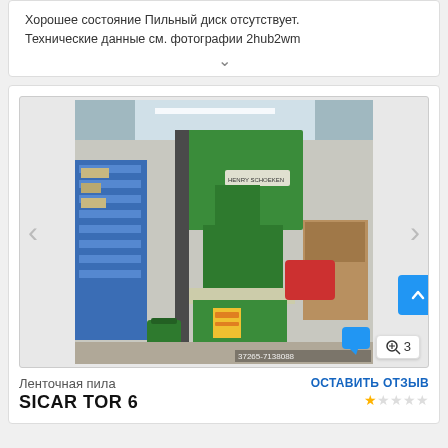Хорошее состояние Пильный диск отсутствует. Технические данные см. фотографии 2hub2wm
[Figure (photo): Green industrial band saw machine (SICAR TOR 6) in a workshop, shown in a carousel image viewer with left/right navigation arrows. Image ID overlay '37265-7138088' visible at bottom right.]
Ленточная пила
SICAR TOR 6
ОСТАВИТЬ ОТЗЫВ